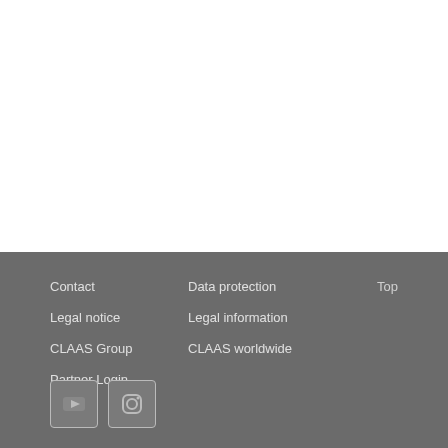Contact | Data protection | Top | Legal notice | Legal information | CLAAS Group | CLAAS worldwide | Partner Login
Contact
Data protection
Top
Legal notice
Legal information
CLAAS Group
CLAAS worldwide
Partner Login
[Figure (logo): YouTube icon in a rounded square button]
[Figure (logo): Instagram icon in a rounded square button]